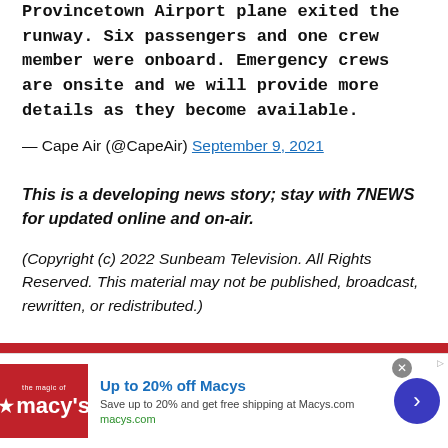Provincetown Airport plane exited the runway. Six passengers and one crew member were onboard. Emergency crews are onsite and we will provide more details as they become available.
— Cape Air (@CapeAir) September 9, 2021
This is a developing news story; stay with 7NEWS for updated online and on-air.
(Copyright (c) 2022 Sunbeam Television. All Rights Reserved. This material may not be published, broadcast, rewritten, or redistributed.)
[Figure (other): Advertisement banner for Macys: Up to 20% off Macys. Save up to 20% and get free shipping at Macys.com. macys.com. Shows Macys red logo with star, blue arrow button, and close button.]